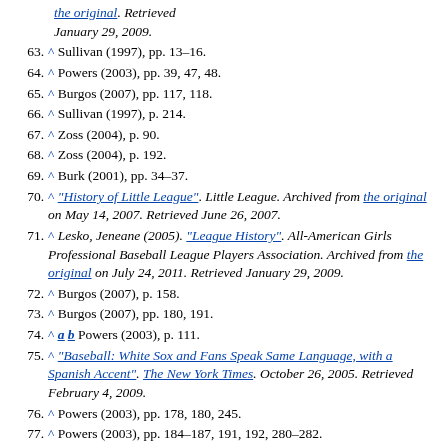(partial) the original. Retrieved January 29, 2009.
63. ^ Sullivan (1997), pp. 13–16.
64. ^ Powers (2003), pp. 39, 47, 48.
65. ^ Burgos (2007), pp. 117, 118.
66. ^ Sullivan (1997), p. 214.
67. ^ Zoss (2004), p. 90.
68. ^ Zoss (2004), p. 192.
69. ^ Burk (2001), pp. 34–37.
70. ^ "History of Little League". Little League. Archived from the original on May 14, 2007. Retrieved June 26, 2007.
71. ^ Lesko, Jeneane (2005). "League History". All-American Girls Professional Baseball League Players Association. Archived from the original on July 24, 2011. Retrieved January 29, 2009.
72. ^ Burgos (2007), p. 158.
73. ^ Burgos (2007), pp. 180, 191.
74. ^ a b Powers (2003), p. 111.
75. ^ "Baseball: White Sox and Fans Speak Same Language, with a Spanish Accent". The New York Times. October 26, 2005. Retrieved February 4, 2009.
76. ^ Powers (2003), pp. 178, 180, 245.
77. ^ Powers (2003), pp. 184–187, 191, 192, 280–282.
78. ^ Simmons, Rob, "The Demand for Spectator Sports", in Handbook on the Economics of Sport, ed. Wladimir Andreff and Stefan Szymanski (Edward Elgar, 2006), pp. 77–89.